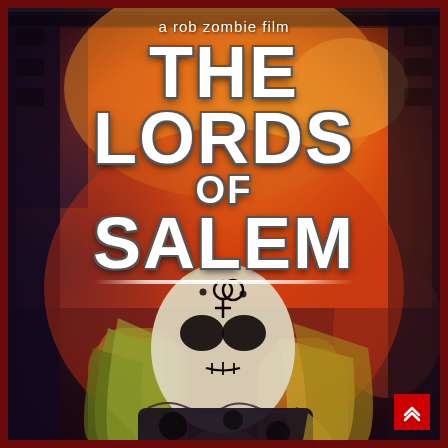[Figure (photo): Movie poster for 'The Lords of Salem', a Rob Zombie film. Shows a figure with white skull face paint, dark eye makeup, a forehead symbol, and long dreadlocked hair in green/yellow hues, wearing a dark spotted/worn top. Background is an orange-red smoky gradient. Text at top reads 'a rob zombie film' and 'THE LORDS OF SALEM' in large white distressed lettering. A red navigation button with upward arrow is in the bottom right corner.]